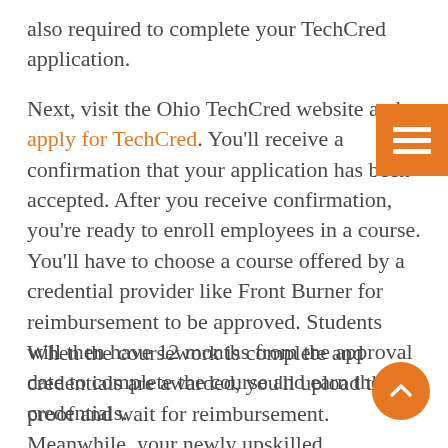also required to complete your TechCred application.
Next, visit the Ohio TechCred website and apply for TechCred. You'll receive a confirmation that your application has been accepted. After you receive confirmation, you're ready to enroll employees in a course. You'll have to choose a course offered by a credential provider like Front Burner for reimbursement to be approved. Students will then have 12 months from the approval date to complete the course and earn their credentials.
When the coursework is complete and credentials are awarded, you'll upload the proof and wait for reimbursement. Meanwhile, your newly upskilled